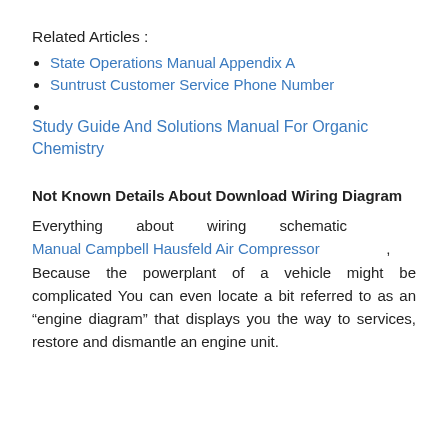Related Articles :
State Operations Manual Appendix A
Suntrust Customer Service Phone Number
Study Guide And Solutions Manual For Organic Chemistry
Not Known Details About Download Wiring Diagram
Everything about wiring schematic Manual Campbell Hausfeld Air Compressor , Because the powerplant of a vehicle might be complicated You can even locate a bit referred to as an “engine diagram” that displays you the way to services, restore and dismantle an engine unit.